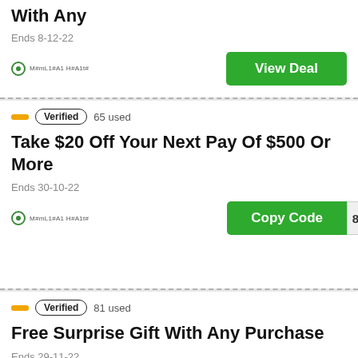With Any (cropped title)
Ends 8-12-22
View Deal
Verified  65 used
Take $20 Off Your Next Pay Of $500 Or More
Ends 30-10-22
Copy Code
Verified  81 used
Free Surprise Gift With Any Purchase
Ends 29-11-22